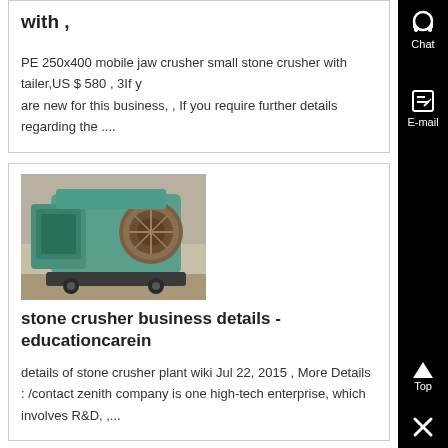with ,
PE 250x400 mobile jaw crusher small stone crusher with tailer,US $ 580 , 3If you are new for this business, , If you require further details regarding the ....
[Figure (photo): Photo of a large green industrial stone crusher machine in a warehouse/factory setting]
stone crusher business details - educationcarein
details of stone crusher plant wiki Jul 22, 2015 , More Details : /contact zenith company is one high-tech enterprise, which involves R&D, ,...
[Figure (photo): Photo of industrial warehouse interior with overhead crane and equipment]